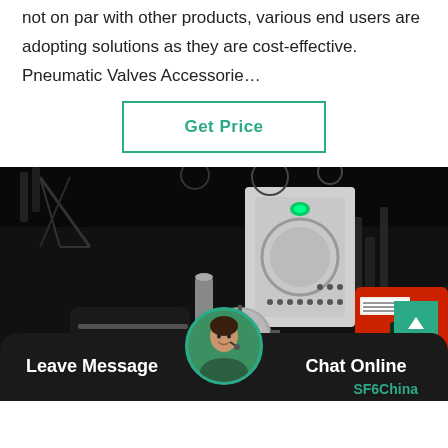not on par with other products, various end users are adopting solutions as they are cost-effective. Pneumatic Valves Accessorie…
[Figure (other): Button labeled 'Get Price' with teal/green border and text on white background]
[Figure (photo): Dark industrial scene with machinery, pipes, valves, and green LED indicators. Features cylindrical metal tanks and complex valve assemblies.]
Leave Message
[Figure (photo): Circular avatar of a female customer service representative with headset]
Chat Online
SF6China